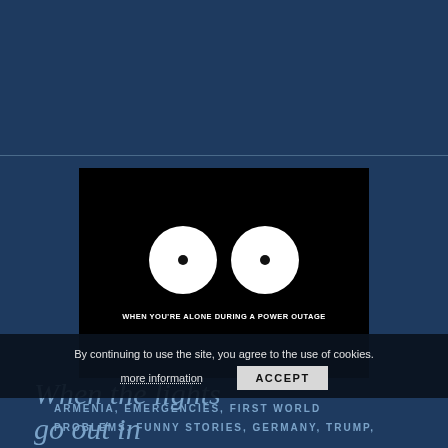[Figure (illustration): Black rectangle image showing two large white circles resembling cartoon eyes with small dark pupils on a black background. White text at the bottom reads: WHEN YOU'RE ALONE DURING A POWER OUTAGE]
ARMENIA, EMERGENCIES, FIRST WORLD PROBLEMS, FUNNY STORIES, GERMANY, TRUMP,
When the lights go out in
By continuing to use the site, you agree to the use of cookies.
more information
ACCEPT